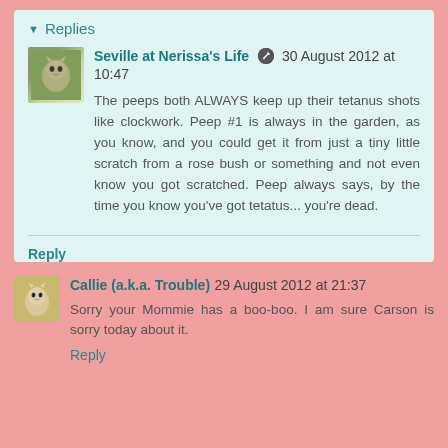Replies
Seville at Nerissa's Life 30 August 2012 at 10:47
The peeps both ALWAYS keep up their tetanus shots like clockwork. Peep #1 is always in the garden, as you know, and you could get it from just a tiny little scratch from a rose bush or something and not even know you got scratched. Peep always says, by the time you know you've got tetatus... you're dead.
Reply
Callie (a.k.a. Trouble) 29 August 2012 at 21:37
Sorry your Mommie has a boo-boo. I am sure Carson is sorry today about it.
Reply